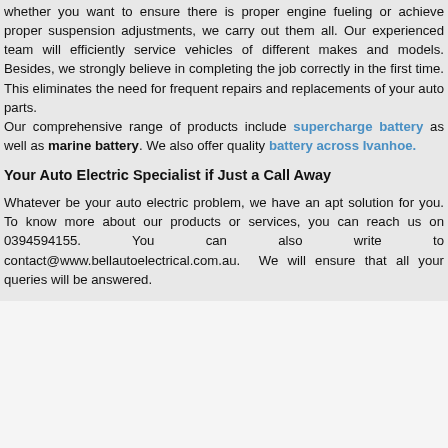Whether you want to ensure there is proper engine fueling or achieve proper suspension adjustments, we carry out them all. Our experienced team will efficiently service vehicles of different makes and models. Besides, we strongly believe in completing the job correctly in the first time. This eliminates the need for frequent repairs and replacements of your auto parts. Our comprehensive range of products include supercharge battery as well as marine battery. We also offer quality battery across Ivanhoe.
Your Auto Electric Specialist if Just a Call Away
Whatever be your auto electric problem, we have an apt solution for you. To know more about our products or services, you can reach us on 0394594155. You can also write to contact@www.bellautoelectrical.com.au. We will ensure that all your queries will be answered.